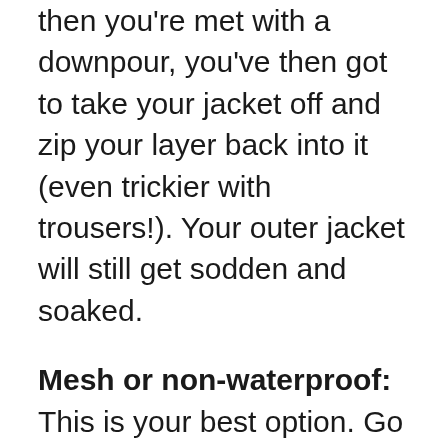then you're met with a downpour, you've then got to take your jacket off and zip your layer back into it (even trickier with trousers!). Your outer jacket will still get sodden and soaked.
Mesh or non-waterproof: This is your best option. Go for a lightweight, breathable and comfortable motorcycle jacket. If you find one with a removable waterproof liner, then go for that and leave the liner at home. Instead, take a cheap two-piece waterproof throwover.